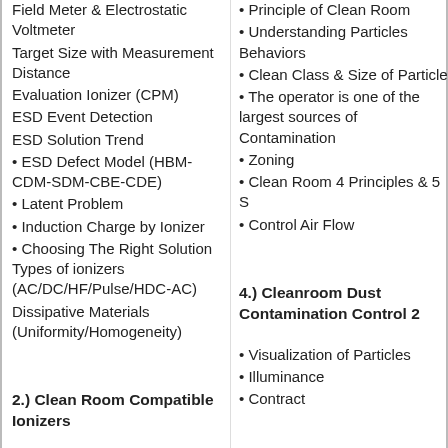Field Meter & Electrostatic Voltmeter
Target Size with Measurement Distance
Evaluation Ionizer (CPM)
ESD Event Detection
ESD Solution Trend
• ESD Defect Model (HBM-CDM-SDM-CBE-CDE)
• Latent Problem
• Induction Charge by Ionizer
• Choosing The Right Solution Types of ionizers (AC/DC/HF/Pulse/HDC-AC)
Dissipative Materials (Uniformity/Homogeneity)
2.) Clean Room Compatible Ionizers
• Non Particle Emission Fan Type Ionizer from Fan motor
• Low Particle Emission Fan
• Principle of Clean Room
• Understanding Particles Behaviors
• Clean Class & Size of Particle
• The operator is one of the largest sources of Contamination
• Zoning
• Clean Room 4 Principles & 5 S
• Control Air Flow
4.) Cleanroom Dust Contamination Control 2
• Visualization of Particles
• Illuminance
• Contract